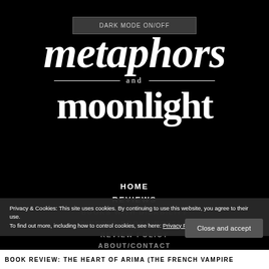[Figure (screenshot): Dark mode on/off button at the top of the page]
Metaphors and moonlight
HOME
REVIEWS
BOOKS WITH DISABILITY
DIVERSE BOOKS/NOVELS
REVIEW POLICY
ABOUT/CONTACT
Privacy & Cookies: This site uses cookies. By continuing to use this website, you agree to their use.
To find out more, including how to control cookies, see here: Privacy Policy
BOOK REVIEW: THE HEART OF ARIMA (THE FRENCH VAMPIRE